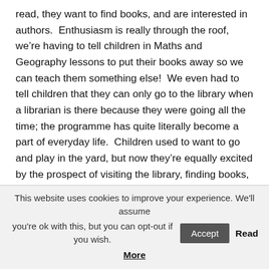read, they want to find books, and are interested in authors.  Enthusiasm is really through the roof, we're having to tell children in Maths and Geography lessons to put their books away so we can teach them something else!  We even had to tell children that they can only go to the library when a librarian is there because they were going all the time; the programme has quite literally become a part of everyday life.  Children used to want to go and play in the yard, but now they're equally excited by the prospect of visiting the library, finding books, quizzing them and moving forward with their reading.  We've seen such an improvement in reading attitude and engagement, and a lot of the time we're
This website uses cookies to improve your experience. We'll assume you're ok with this, but you can opt-out if you wish. Accept Read More